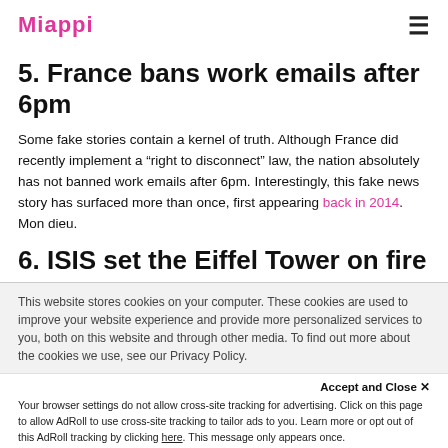Miappi
5. France bans work emails after 6pm
Some fake stories contain a kernel of truth. Although France did recently implement a “right to disconnect” law, the nation absolutely has not banned work emails after 6pm. Interestingly, this fake news story has surfaced more than once, first appearing back in 2014. Mon dieu.
6. ISIS set the Eiffel Tower on fire
This website stores cookies on your computer. These cookies are used to improve your website experience and provide more personalized services to you, both on this website and through other media. To find out more about the cookies we use, see our Privacy Policy.
Accept and Close × Your browser settings do not allow cross-site tracking for advertising. Click on this page to allow AdRoll to use cross-site tracking to tailor ads to you. Learn more or opt out of this AdRoll tracking by clicking here. This message only appears once.